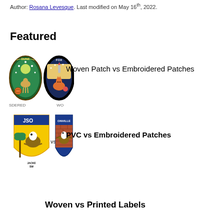Author: Rosana Levesque. Last modified on May 16th, 2022.
Featured
[Figure (illustration): Two circular embroidered and woven scout-style patches side by side]
Woven Patch vs Embroidered Patches
[Figure (illustration): Two shield-shaped JSO SWAT vs Jacksonville SWAT patches side by side]
PVC vs Embroidered Patches
Woven vs Printed Labels